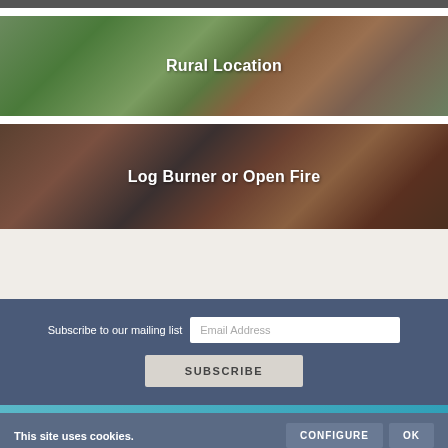[Figure (photo): Top strip showing partial photo banner]
[Figure (photo): Aerial photo of a rural village location with hillside and buildings]
Rural Location
[Figure (photo): Close-up photo of logs and cosy fire items, blanket/slippers on fur rug]
Log Burner or Open Fire
Subscribe to our mailing list
Email Address
SUBSCRIBE
This site uses cookies.
CONFIGURE
OK